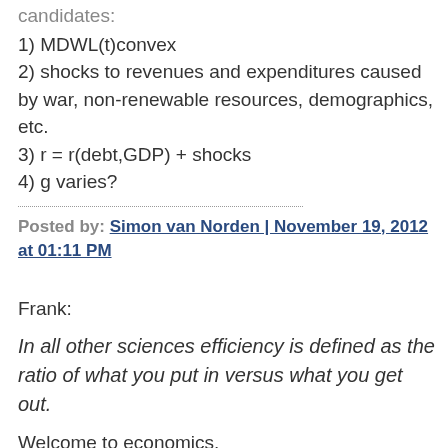candidates:
1) MDWL(t)convex
2) shocks to revenues and expenditures caused by war, non-renewable resources, demographics, etc.
3) r = r(debt,GDP) + shocks
4) g varies?
Posted by: Simon van Norden | November 19, 2012 at 01:11 PM
Frank:
In all other sciences efficiency is defined as the ratio of what you put in versus what you get out.
Welcome to economics.